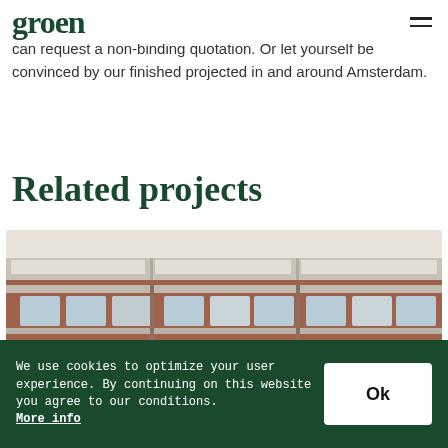groen
can request a non-binding quotation. Or let yourself be convinced by our finished projected in and around Amsterdam.
Related projects
[Figure (photo): Photograph of a multi-storey red brick residential building with white-framed windows and balconies, and green trees in front]
We use cookies to optimize your user experience. By continuing on this website you agree to our conditions. More info